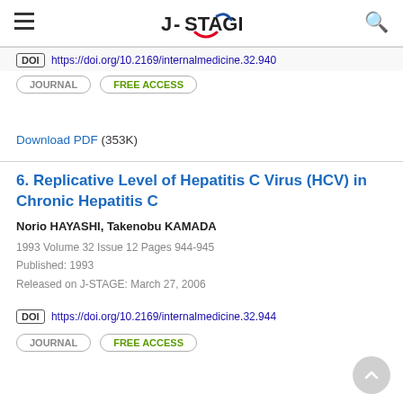J-STAGE
DOI https://doi.org/10.2169/internalmedicine.32.940
JOURNAL  FREE ACCESS
Download PDF (353K)
6. Replicative Level of Hepatitis C Virus (HCV) in Chronic Hepatitis C
Norio HAYASHI, Takenobu KAMADA
1993 Volume 32 Issue 12 Pages 944-945
Published: 1993
Released on J-STAGE: March 27, 2006
DOI https://doi.org/10.2169/internalmedicine.32.944
JOURNAL  FREE ACCESS